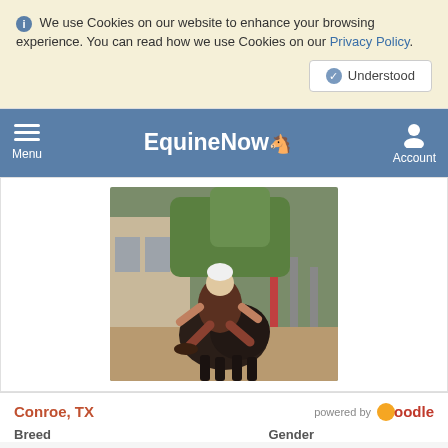We use Cookies on our website to enhance your browsing experience. You can read how we use Cookies on our Privacy Policy.
Understood
EquineNow — Menu | Account
[Figure (photo): Person riding a dark horse viewed from behind, in an outdoor area with greenery and fencing]
Conroe, TX
powered by oodle
Breed
Gender